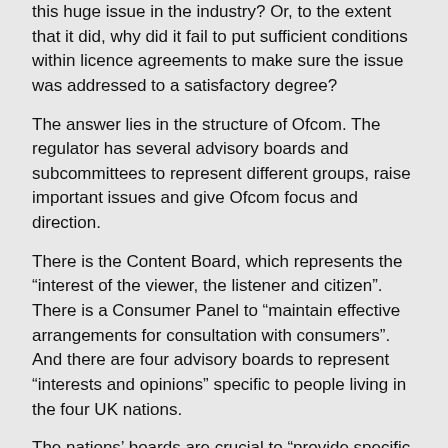this huge issue in the industry? Or, to the extent that it did, why did it fail to put sufficient conditions within licence agreements to make sure the issue was addressed to a satisfactory degree?
The answer lies in the structure of Ofcom. The regulator has several advisory boards and subcommittees to represent different groups, raise important issues and give Ofcom focus and direction.
There is the Content Board, which represents the “interest of the viewer, the listener and citizen”. There is a Consumer Panel to “maintain effective arrangements for consultation with consumers”. And there are four advisory boards to represent “interests and opinions” specific to people living in the four UK nations.
The nations' boards are crucial to "provide specific advice… on matters relating to television, radio and other content on services regulated by Ofcom" in the respective nations they represent.
Despite the UK’s BAME population accounting for 14% of the entire population and therefore being roughly the same size as all the nations outside of England combined (16%), there is no board dedicated to the interests of the country’s ethnic minority